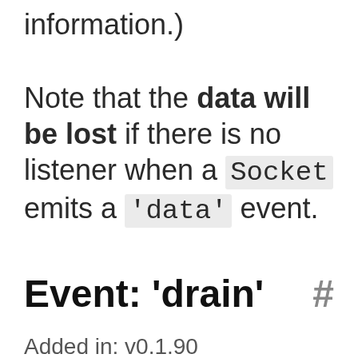information.)
Note that the data will be lost if there is no listener when a Socket emits a 'data' event.
Event: 'drain'  #
Added in: v0.1.90